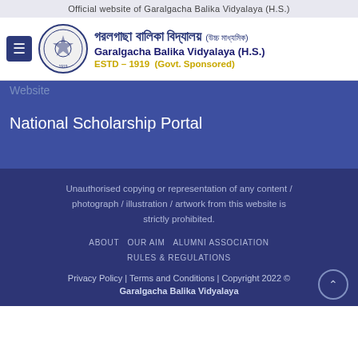Official website of Garalgacha Balika Vidyalaya (H.S.)
[Figure (logo): Garalgacha Balika Vidyalaya logo with Bengali name, English name, and ESTD 1919 Govt. Sponsored]
Website
National Scholarship Portal
Unauthorised copying or representation of any content / photograph / illustration / artwork from this website is strictly prohibited.
ABOUT  OUR AIM  ALUMNI ASSOCIATION  RULES & REGULATIONS
Privacy Policy | Terms and Conditions | Copyright 2022 © Garalgacha Balika Vidyalaya